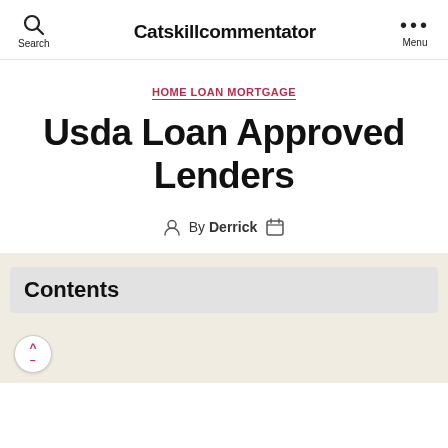Catskillcommentator
HOME LOAN MORTGAGE
Usda Loan Approved Lenders
By Derrick
Contents